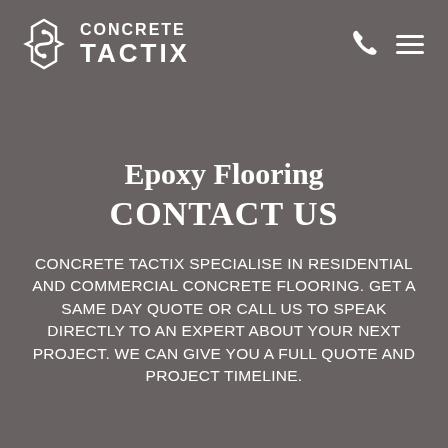[Figure (logo): Concrete Tactix logo: hexagonal/gear-shaped icon on left, company name 'CONCRETE TACTIX' in white bold text to the right]
Epoxy Flooring CONTACT US
CONCRETE TACTIX SPECIALISE IN RESIDENTIAL AND COMMERCIAL CONCRETE FLOORING. GET A SAME DAY QUOTE OR CALL US TO SPEAK DIRECTLY TO AN EXPERT ABOUT YOUR NEXT PROJECT. WE CAN GIVE YOU A FULL QUOTE AND PROJECT TIMELINE.